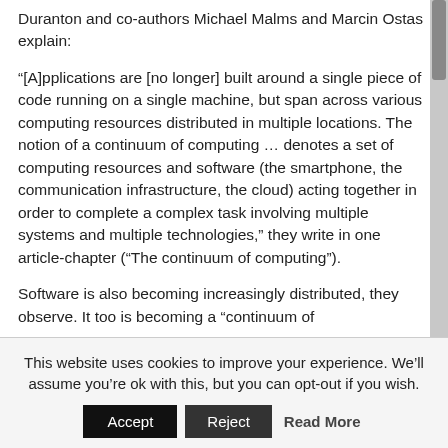Duranton and co-authors Michael Malms and Marcin Ostas explain:
“[A]pplications are [no longer] built around a single piece of code running on a single machine, but span across various computing resources distributed in multiple locations. The notion of a continuum of computing … denotes a set of computing resources and software (the smartphone, the communication infrastructure, the cloud) acting together in order to complete a complex task involving multiple systems and multiple technologies,” they write in one article-chapter (“The continuum of computing”).
Software is also becoming increasingly distributed, they observe. It too is becoming a “continuum of
This website uses cookies to improve your experience. We’ll assume you’re ok with this, but you can opt-out if you wish.